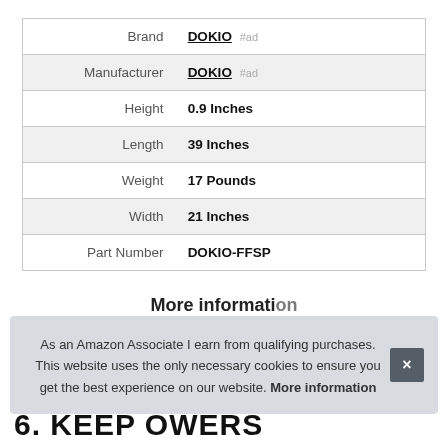| Attribute | Value |
| --- | --- |
| Brand | DOKIO #ad |
| Manufacturer | DOKIO #ad |
| Height | 0.9 Inches |
| Length | 39 Inches |
| Weight | 17 Pounds |
| Width | 21 Inches |
| Part Number | DOKIO-FFSP |
More information
As an Amazon Associate I earn from qualifying purchases. This website uses the only necessary cookies to ensure you get the best experience on our website. More information
6. KEEPOWERS